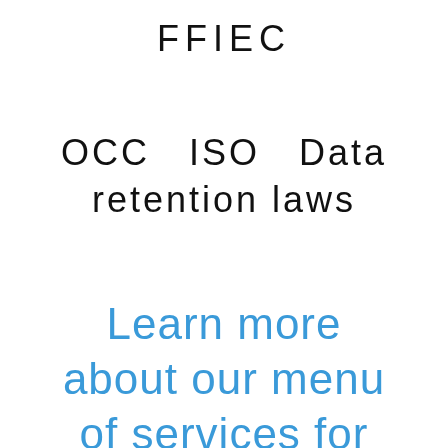FFIEC
OCC  ISO  Data retention laws
Learn more about our menu of services for your small